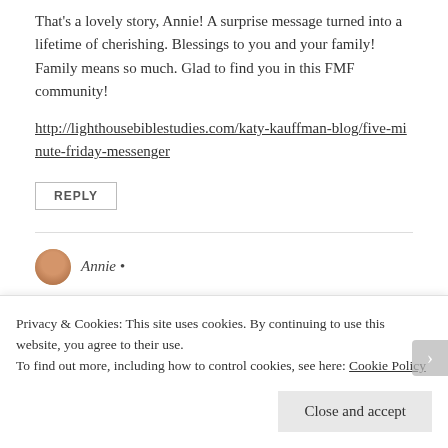That's a lovely story, Annie! A surprise message turned into a lifetime of cherishing. Blessings to you and your family! Family means so much. Glad to find you in this FMF community!
http://lighthousebiblestudies.com/katy-kauffman-blog/five-minute-friday-messenger
REPLY
Annie •
Privacy & Cookies: This site uses cookies. By continuing to use this website, you agree to their use.
To find out more, including how to control cookies, see here: Cookie Policy
Close and accept